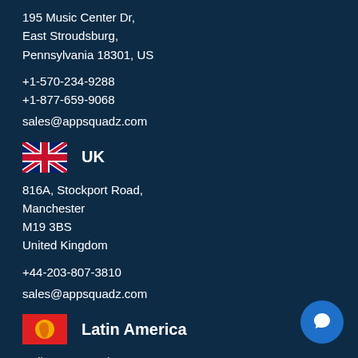195 Music Center Dr,
East Stroudsburg,
Pennsylvania 18301, US
+1-570-234-9288
+1-877-659-9068
sales@appsquadz.com
[Figure (illustration): UK flag icon with Union Jack design]
UK
816A, Stockport Road,
Manchester
M19 3BS
United Kingdom
+44-203-807-3810
sales@appsquadz.com
[Figure (illustration): Latin America flag icon — red background with yellow South America map silhouette]
Latin America
Calle Santa Lucia
E9-110 y los Helechos,
Conjunto Marbella